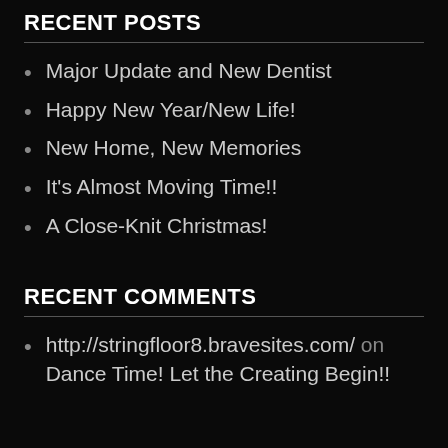RECENT POSTS
Major Update and New Dentist
Happy New Year/New Life!
New Home, New Memories
It's Almost Moving Time!!
A Close-Knit Christmas!
RECENT COMMENTS
http://stringfloor8.bravesites.com/ on Dance Time! Let the Creating Begin!!